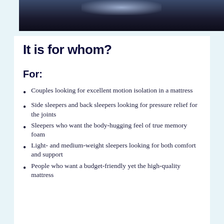[Figure (photo): Dark photograph showing a person sleeping, with a light glow visible at the top center, mostly dark background in navy/dark blue tones.]
It is for whom?
For:
Couples looking for excellent motion isolation in a mattress
Side sleepers and back sleepers looking for pressure relief for the joints
Sleepers who want the body-hugging feel of true memory foam
Light- and medium-weight sleepers looking for both comfort and support
People who want a budget-friendly yet the high-quality mattress